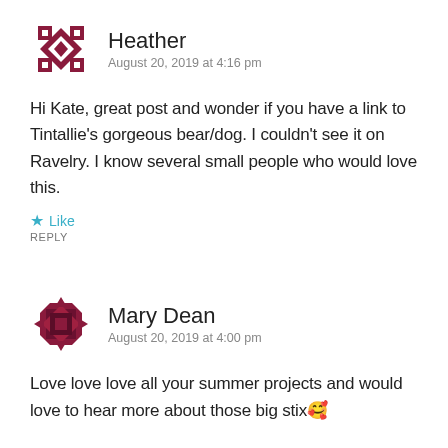[Figure (illustration): Avatar icon for Heather — dark red/maroon pixel quilt pattern avatar]
Heather
August 20, 2019 at 4:16 pm
Hi Kate, great post and wonder if you have a link to Tintallie's gorgeous bear/dog. I couldn't see it on Ravelry. I know several small people who would love this.
★ Like
REPLY
[Figure (illustration): Avatar icon for Mary Dean — dark maroon pixel quilt pattern avatar]
Mary Dean
August 20, 2019 at 4:00 pm
Love love love all your summer projects and would love to hear more about those big stix🥰